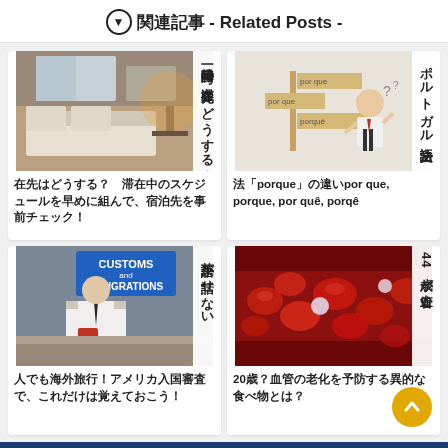⬇ 関連記事 - Related Posts -
[Figure (photo): Hotel room with bed and lamp - temporary return accommodation article]
一時帰国時の滞在先はどうする？　滞在中のスケジュールを早めに組んで、宿泊先を事前チェック！
[Figure (illustration): Illustration of a person confused by Portuguese language signs - porque, por que, porquê, porqê]
ポルトガル語文法「porque」の違いpor que, porque, por quê, porqê
[Figure (photo): Customs and immigration officer checking passport at border]
英語が話せない人でも海外旅行！アメリカ入国審査で、これだけは覚えておこう！
[Figure (photo): Close-up of blood cells in a blood vessel - anti-aging article]
44歳が血管20歳？血管の老化を予防する異的な食べ物とは？